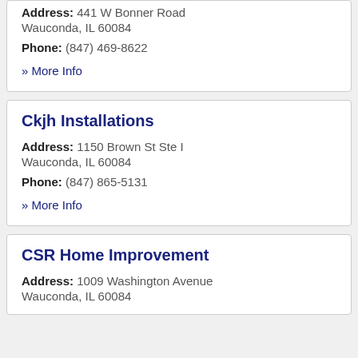Address: 441 W Bonner Road Wauconda, IL 60084
Phone: (847) 469-8622
» More Info
Ckjh Installations
Address: 1150 Brown St Ste I Wauconda, IL 60084
Phone: (847) 865-5131
» More Info
CSR Home Improvement
Address: 1009 Washington Avenue Wauconda, IL 60084